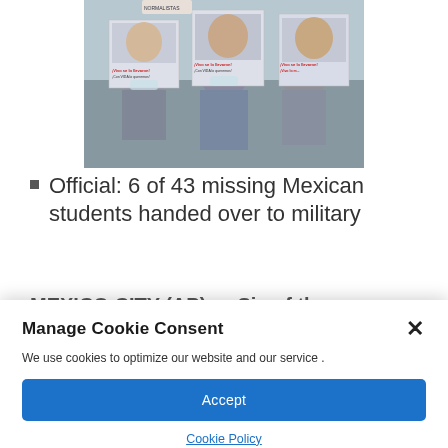[Figure (photo): Protesters holding up signs and photos of missing Mexican students, signs read '¡Vivo se lo llevaron!' and '¡Con VIDA lo queremos!']
Official: 6 of 43 missing Mexican students handed over to military
MEXICO CITY (AP) — Six of the
Manage Cookie Consent
We use cookies to optimize our website and our service .
Accept
Cookie Policy